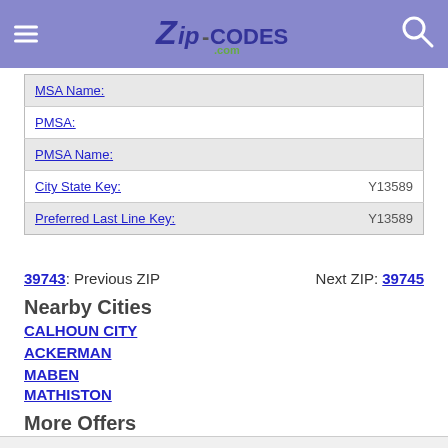Zip-Codes.com
| MSA Name: |  |
| PMSA: |  |
| PMSA Name: |  |
| City State Key: | Y13589 |
| Preferred Last Line Key: | Y13589 |
39743: Previous ZIP    Next ZIP: 39745
Nearby Cities
CALHOUN CITY
ACKERMAN
MABEN
MATHISTON
More Offers